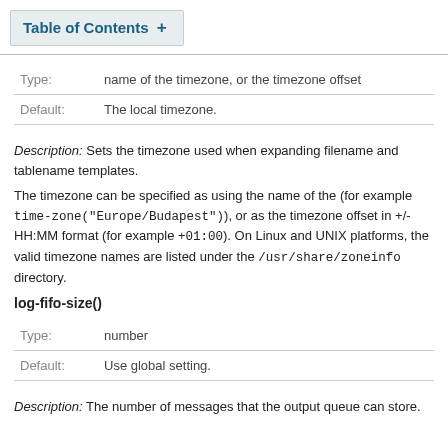Table of Contents +
| Field | Value |
| --- | --- |
| Type: | name of the timezone, or the timezone offset |
| Default: | The local timezone. |
Description: Sets the timezone used when expanding filename and tablename templates.
The timezone can be specified as using the name of the (for example time-zone("Europe/Budapest")), or as the timezone offset in +/-HH:MM format (for example +01:00). On Linux and UNIX platforms, the valid timezone names are listed under the /usr/share/zoneinfo directory.
log-fifo-size()
| Field | Value |
| --- | --- |
| Type: | number |
| Default: | Use global setting. |
Description: The number of messages that the output queue can store.